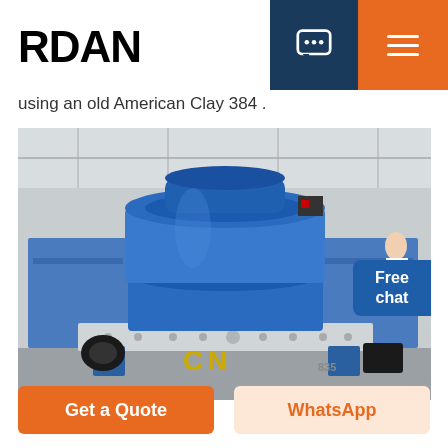RDAN
using an old American Clay 384 .
[Figure (photo): Large blue industrial VSI (vertical shaft impact) crusher machine on a factory floor, bearing yellow 'CN' markings on the base. The machine has a cylindrical blue upper section and a white/light-colored base frame with bolt patterns. Factory interior visible in background.]
Free chat
Get a Quote
WhatsApp